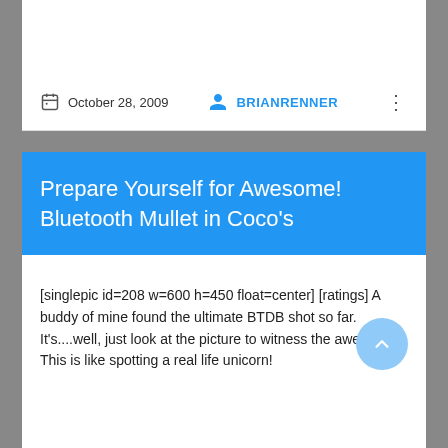October 28, 2009   BRIANRENNER
Prepare Yourself for Awesome! Bluetooth Mullet in Coco's
[singlepic id=208 w=600 h=450 float=center] [ratings] A buddy of mine found the ultimate BTDB shot so far. It's....well, just look at the picture to witness the awesome.  This is like spotting a real life unicorn!